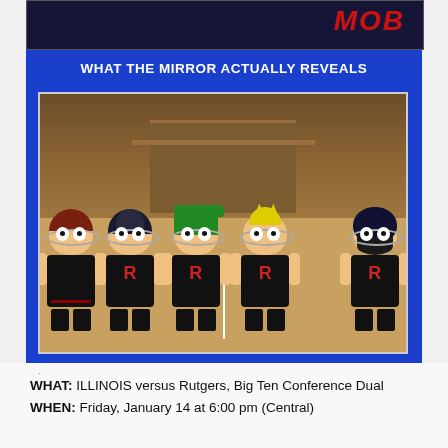[Figure (illustration): Top portion of an image showing a group of people with 'MOB' text visible in red on the right side, against a dark background.]
WHAT THE MIRROR ACTUALLY REVEALS
[Figure (illustration): South Park cartoon-style characters dressed as Rutgers wrestlers in black singlets with red 'R' letter, wearing various colored helmets/hats (dark red, black, green, yellow, black) and headgear, standing on a wrestling mat in a gym setting.]
WHAT: ILLINOIS versus Rutgers, Big Ten Conference Dual
WHEN: Friday, January 14 at 6:00 pm (Central)